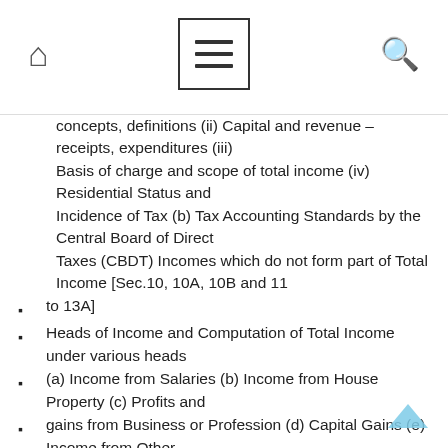Navigation header with home, menu, and search icons
concepts, definitions (ii) Capital and revenue – receipts, expenditures (iii) Basis of charge and scope of total income (iv) Residential Status and Incidence of Tax (b) Tax Accounting Standards by the Central Board of Direct Taxes (CBDT) Incomes which do not form part of Total Income [Sec.10, 10A, 10B and 11 to 13A]
Heads of Income and Computation of Total Income under various heads
(a) Income from Salaries (b) Income from House Property (c) Profits and
gains from Business or Profession (d) Capital Gains (e) Income from Other
Sources
Income of other persons included in Assessee's Total Income; Aggregation
of Income and Set off or Carry Forward of